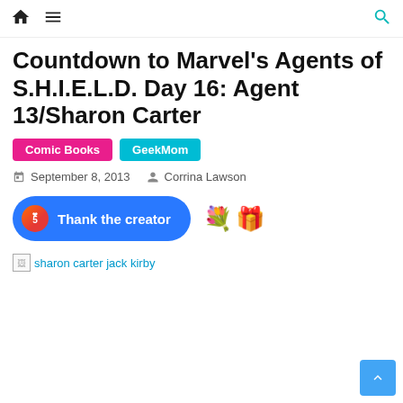home menu search
Countdown to Marvel's Agents of S.H.I.E.L.D. Day 16: Agent 13/Sharon Carter
Comic Books
GeekMom
September 8, 2013  Corrina Lawson
[Figure (other): Thank the creator button with badge showing 5, followed by flower bouquet and gift boxes emoji]
[Figure (photo): Broken image placeholder with alt text: sharon carter jack kirby]